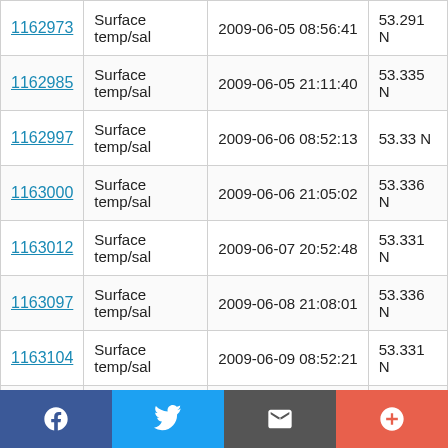| ID | Type | Date/Time | Value |
| --- | --- | --- | --- |
| 1162973 | Surface temp/sal | 2009-06-05 08:56:41 | 53.291 N |
| 1162985 | Surface temp/sal | 2009-06-05 21:11:40 | 53.335 N |
| 1162997 | Surface temp/sal | 2009-06-06 08:52:13 | 53.33 N |
| 1163000 | Surface temp/sal | 2009-06-06 21:05:02 | 53.336 N |
| 1163012 | Surface temp/sal | 2009-06-07 20:52:48 | 53.331 N |
| 1163097 | Surface temp/sal | 2009-06-08 21:08:01 | 53.336 N |
| 1163104 | Surface temp/sal | 2009-06-09 08:52:21 | 53.331 N |
| 1163116 | Surface temp/sal | 2009-06-09 21:15:31 | 53.336 N |
| 1163128 | Surface temp/sal | 2009-06-10 08:45:42 | 53.33 N |
| 1163141 | Surface temp/sal | 2009-06-10 21:42:22 | 53.336 N |